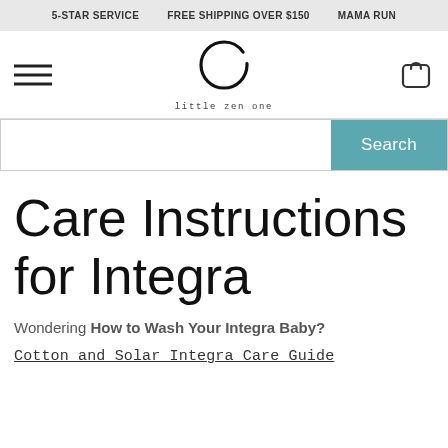5-STAR SERVICE | FREE SHIPPING OVER $150 | MAMA RUN
[Figure (logo): Little Zen One logo: a circular brushstroke (enso) above the text 'little zen one' in monospace font]
Care Instructions for Integra
Wondering How to Wash Your Integra Baby?
Cotton and Solar Integra Care Guide